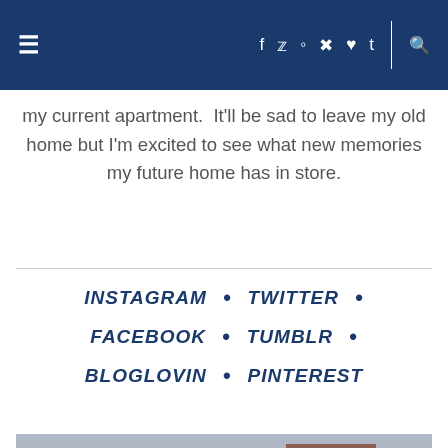≡  f  ✓  ▣  ⊕  ♥  t  |  🔍
my current apartment.  It'll be sad to leave my old home but I'm excited to see what new memories my future home has in store.
INSTAGRAM  •  TWITTER  •  FACEBOOK  •  TUMBLR  •  BLOGLOVIN  •  PINTEREST
[Figure (photo): A man wearing a blue cap and glasses standing on a city street with steam/smoke around him. Urban background with buildings and a construction barrier.]